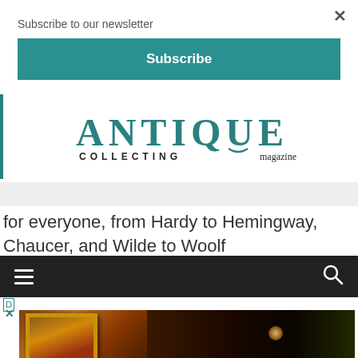Subscribe to our newsletter
Subscribe
[Figure (logo): Antique Collecting magazine logo in teal/dark teal serif font]
for everyone, from Hardy to Hemingway, Chaucer, and Wilde to Woolf
[Figure (screenshot): Dark navigation bar with hamburger menu icon and search icon]
[Figure (photo): Dark atmospheric interior room photo with gold-framed paintings on wood-paneled walls and warm hanging lights]